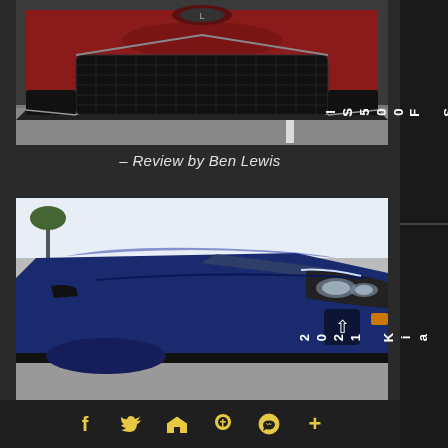[Figure (photo): Close-up front view of a red Lexus IS 500 F Sport showing the spindle grille and hood with the Lexus logo, shot in a parking lot]
– Review by Ben Lewis
[Figure (photo): Close-up front quarter view of a dark blue Kia K5 GT showing the headlight detail and hood, shot in a parking lot]
f  Twitter  Email  Pinterest  WhatsApp  +